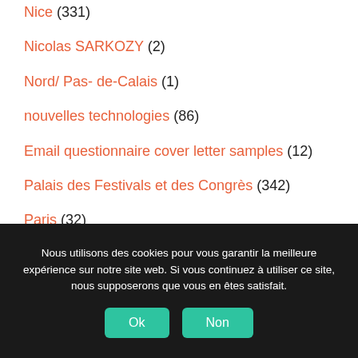Nice (331)
Nicolas SARKOZY (2)
Nord/ Pas- de-Calais (1)
nouvelles technologies (86)
Email questionnaire cover letter samples (12)
Palais des Festivals et des Congrès (342)
Paris (32)
Nous utilisons des cookies pour vous garantir la meilleure expérience sur notre site web. Si vous continuez à utiliser ce site, nous supposerons que vous en êtes satisfait.